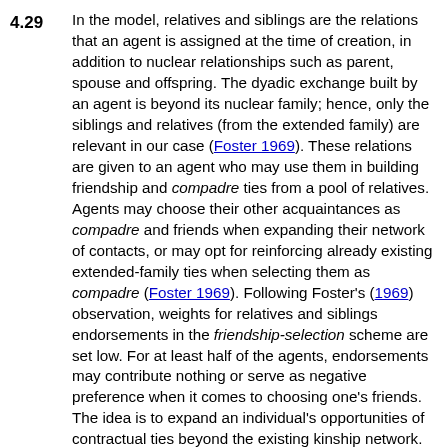4.29 In the model, relatives and siblings are the relations that an agent is assigned at the time of creation, in addition to nuclear relationships such as parent, spouse and offspring. The dyadic exchange built by an agent is beyond its nuclear family; hence, only the siblings and relatives (from the extended family) are relevant in our case (Foster 1969). These relations are given to an agent who may use them in building friendship and compadre ties from a pool of relatives. Agents may choose their other acquaintances as compadre and friends when expanding their network of contacts, or may opt for reinforcing already existing extended-family ties when selecting them as compadre (Foster 1969). Following Foster's (1969) observation, weights for relatives and siblings endorsements in the friendship-selection scheme are set low. For at least half of the agents, endorsements may contribute nothing or serve as negative preference when it comes to choosing one's friends. The idea is to expand an individual's opportunities of contractual ties beyond the existing kinship network.